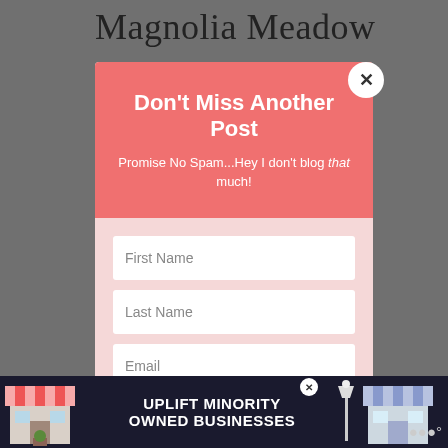Magnolia Meadow
[Figure (screenshot): Email subscription modal popup with salmon/pink header reading 'Don't Miss Another Post', subtitle 'Promise No Spam...Hey I don't blog that much!', form fields for First Name, Last Name, Email, and a SUBSCRIBE! button. A close (X) button appears top-right. Background is grey.]
[Figure (infographic): Ad banner at bottom reading 'UPLIFT MINORITY OWNED BUSINESSES' with illustrated storefronts on left and right, a street lamp, and a close X button. Weather icon appears at far right.]